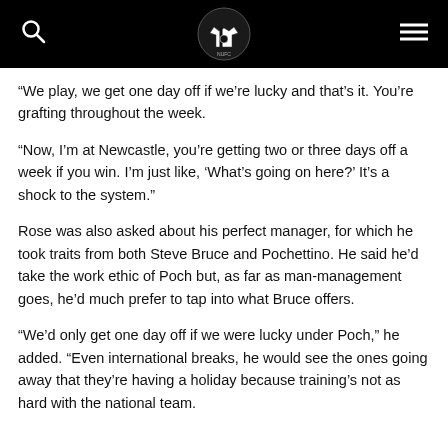Newcastle United fan site header with search, logo, and menu icons
“We play, we get one day off if we’re lucky and that’s it. You’re grafting throughout the week.
“Now, I’m at Newcastle, you’re getting two or three days off a week if you win. I’m just like, ‘What’s going on here?’ It’s a shock to the system.”
Rose was also asked about his perfect manager, for which he took traits from both Steve Bruce and Pochettino. He said he’d take the work ethic of Poch but, as far as man-management goes, he’d much prefer to tap into what Bruce offers.
“We’d only get one day off if we were lucky under Poch,” he added. “Even international breaks, he would see the ones going away that they’re having a holiday because training’s not as hard with the national team.